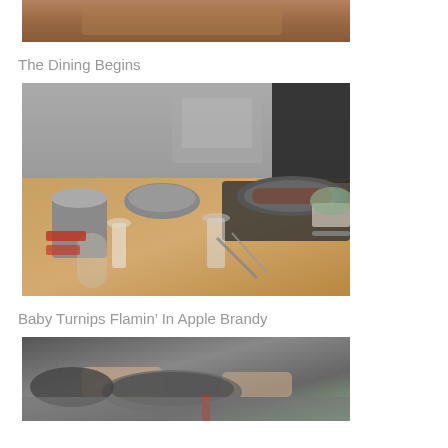[Figure (photo): Partial top photo showing cooking scene, cropped at top of page]
The Dining Begins
[Figure (photo): Kitchen dining table with pans cooking on induction hob, glasses of wine and water, wooden table surface, chef visible in background]
Baby Turnips Flamin’ In Apple Brandy
[Figure (photo): Close-up of chef's hands cooking, pans and utensils on stovetop, partially visible at bottom of page]